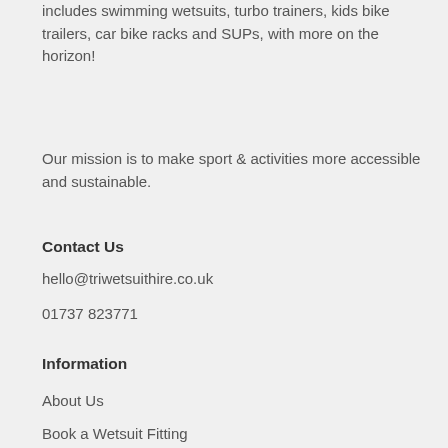includes swimming wetsuits, turbo trainers, kids bike trailers, car bike racks and SUPs, with more on the horizon!
Our mission is to make sport & activities more accessible and sustainable.
Contact Us
hello@triwetsuithire.co.uk
01737 823771
Information
About Us
Book a Wetsuit Fitting